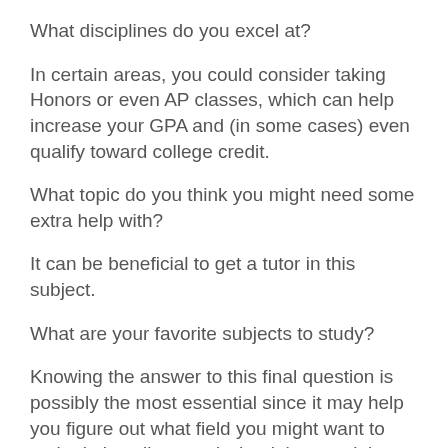What disciplines do you excel at?
In certain areas, you could consider taking Honors or even AP classes, which can help increase your GPA and (in some cases) even qualify toward college credit.
What topic do you think you might need some extra help with?
It can be beneficial to get a tutor in this subject.
What are your favorite subjects to study?
Knowing the answer to this final question is possibly the most essential since it may help you figure out what field you might want to major in in college and what job you might want to pursue after graduation. Knowing this can also aid you in pursuing extracurricular possibilities linked to the subject. These extracurricular